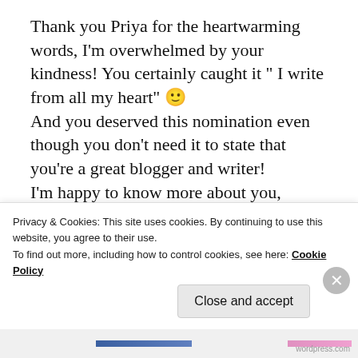Thank you Priya for the heartwarming words, I'm overwhelmed by your kindness! You certainly caught it " I write from all my heart" 🙂
And you deserved this nomination even though you don't need it to state that you're a great blogger and writer!
I'm happy to know more about you, especially the sports part...it's great! We can be cheerful and joyful and emotional as the same time, it's not a difference 🙂 I hardly express as well so join the club haha
When someone asks questions, we sometimes discover things we didn't know before. now we know
Privacy & Cookies: This site uses cookies. By continuing to use this website, you agree to their use.
To find out more, including how to control cookies, see here: Cookie Policy
Close and accept